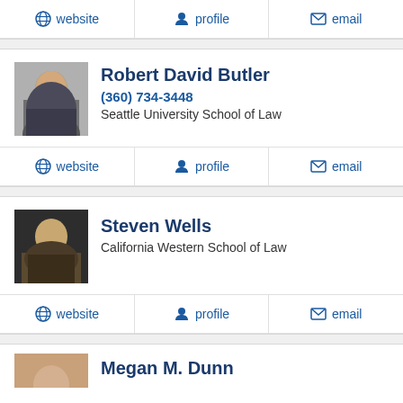website | profile | email
Robert David Butler
(360) 734-3448
Seattle University School of Law
website | profile | email
Steven Wells
California Western School of Law
website | profile | email
Megan M. Dunn